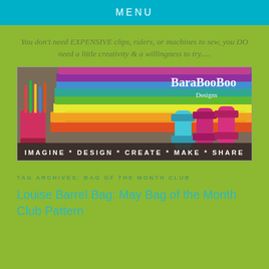MENU
You don't need EXPENSIVE clips, rulers, or machines to sew, you DO need a little creativity & a willingness to try.....
[Figure (logo): BaraBooBoo Designs banner with stacked colorful fabrics, spools of thread, pens, and text: IMAGINE * DESIGN * CREATE * MAKE * SHARE]
TAG ARCHIVES: BAG OF THE MONTH CLUB
Louise Barrel Bag: May Bag of the Month Club Pattern